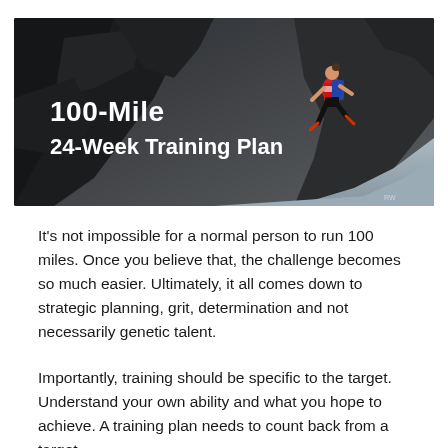[Figure (photo): A trail runner in red and blue athletic gear running down a rocky mountain slope with text overlay reading '100-Mile 24-Week Training Plan']
It's not impossible for a normal person to run 100 miles. Once you believe that, the challenge becomes so much easier. Ultimately, it all comes down to strategic planning, grit, determination and not necessarily genetic talent.
Importantly, training should be specific to the target. Understand your own ability and what you hope to achieve. A training plan needs to count back from a target